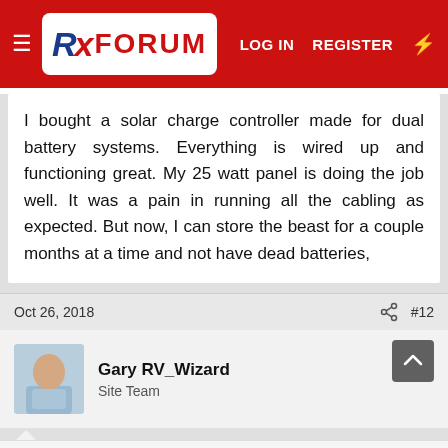RX FORUM — LOG IN  REGISTER
I bought a solar charge controller made for dual battery systems.  Everything is wired up and functioning great.  My 25 watt panel is doing the job well.  It was a pain in running all the cabling as expected. But now, I can store the beast for a couple months at a time and not have dead batteries,
Oct 26, 2018  #12
Gary RV_Wizard
Site Team
Negative grounding in vehicle has been an industry standard since about 1950, about the time they